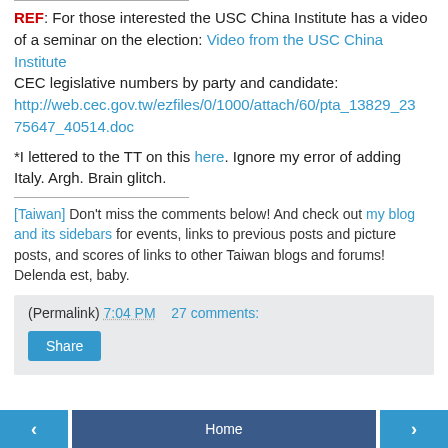REF: For those interested the USC China Institute has a video of a seminar on the election: Video from the USC China Institute CEC legislative numbers by party and candidate: http://web.cec.gov.tw/ezfiles/0/1000/attach/60/pta_13829_2375647_40514.doc
*I lettered to the TT on this here. Ignore my error of adding Italy. Argh. Brain glitch.
[Taiwan] Don't miss the comments below! And check out my blog and its sidebars for events, links to previous posts and picture posts, and scores of links to other Taiwan blogs and forums! Delenda est, baby.
(Permalink) 7:04 PM   27 comments:
Share
< Home >